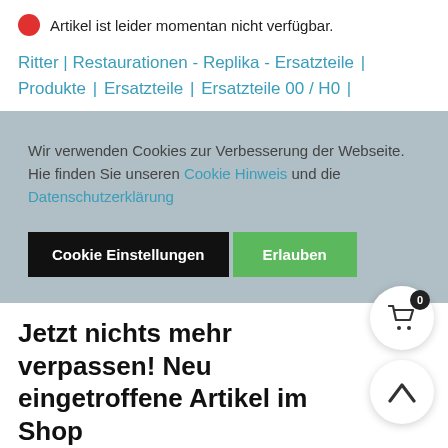Artikel ist leider momentan nicht verfügbar.
Ritter | Restaurationen - Replika - Ersatzteile | Produkte | Ersatzteile | Ersatzteile 00 / H0 |
Wir verwenden Cookies zur Verbesserung der Webseite. Hie finden Sie unseren Cookie Hinweis und die Datenschutzerklärung
Cookie Einstellungen
Erlauben
Jetzt nichts mehr verpassen! Neu eingetroffene Artikel im Shop
Mit unserem AiD können Sie sich per Mail informieren lassen, sobald ein Artikel neu im